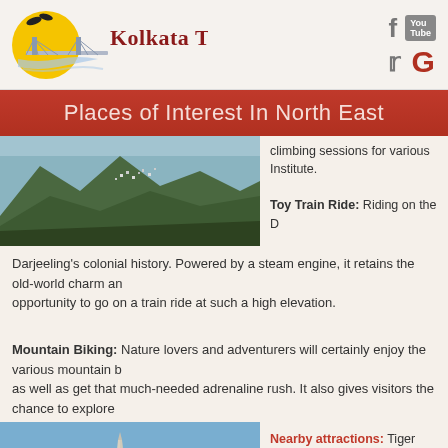[Figure (logo): Kolkata Tours logo with bridge and sun illustration, and text 'Kolkata Tours']
[Figure (other): Social media icons: Facebook, YouTube, Twitter, Google+]
Places of Interest In North East
[Figure (photo): Landscape photo of hilly terrain with town/settlement visible on hillside]
climbing sessions for various Institute.
Toy Train Ride: Riding on the D Darjeeling's colonial history. Powered by a steam engine, it retains the old-world charm an opportunity to go on a train ride at such a high elevation.
Mountain Biking: Nature lovers and adventurers will certainly enjoy the various mountain b as well as get that much-needed adrenaline rush. It also gives visitors the chance to explore
[Figure (photo): Photo of a tall obelisk/monument against blue sky with dark tree silhouette]
Nearby attractions: Tiger Hill, B
Best visit time: The most prefe